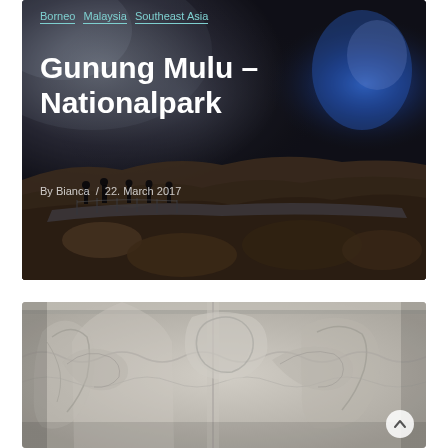[Figure (photo): Dark cave interior with silhouettes of people on a walkway, blue light in upper right, rocky cave floor]
Borneo  Malaysia  Southeast Asia
Gunung Mulu – Nationalpark
By Bianca  /  22. March 2017
[Figure (photo): Stone temple relief carvings in grey/white tones, ornate decorative architectural detail]